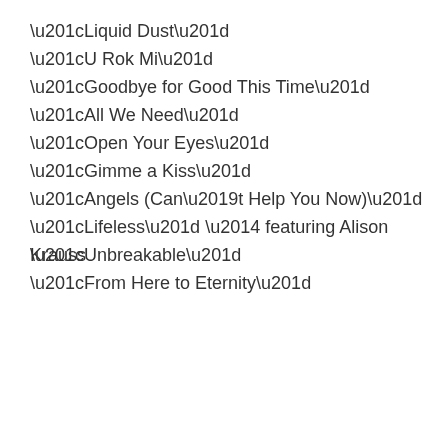“Liquid Dust”
“U Rok Mi”
“Goodbye for Good This Time”
“All We Need”
“Open Your Eyes”
“Gimme a Kiss”
“Angels (Can’t Help You Now)”
“Lifeless” — featuring Alison Krauss
“Unbreakable”
“From Here to Eternity”